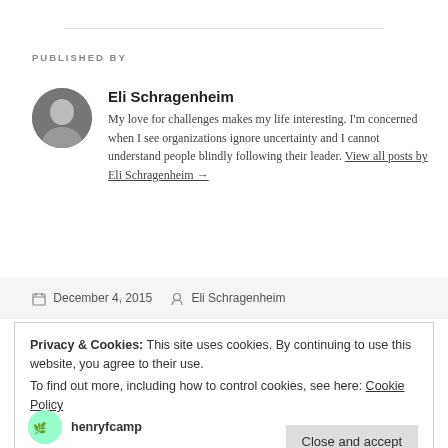PUBLISHED BY
Eli Schragenheim
My love for challenges makes my life interesting. I'm concerned when I see organizations ignore uncertainty and I cannot understand people blindly following their leader. View all posts by Eli Schragenheim →
December 4, 2015   Eli Schragenheim
Privacy & Cookies: This site uses cookies. By continuing to use this website, you agree to their use.
To find out more, including how to control cookies, see here: Cookie Policy
Close and accept
henryfcamp